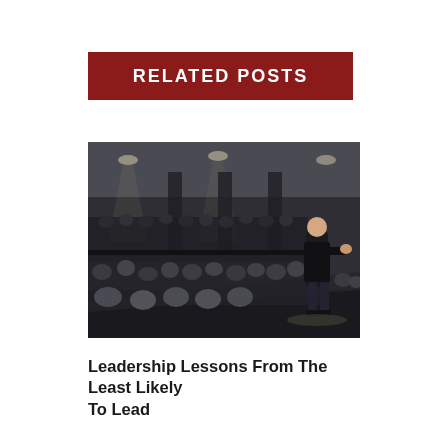RELATED POSTS
[Figure (photo): Speaker on stage presenting to a large seated audience in a conference or event hall. The speaker stands on the right side of the frame, wearing dark clothing, gesturing. The audience fills rows of seats in the foreground and background under ceiling spotlights.]
Leadership Lessons From The Least Likely To Lead